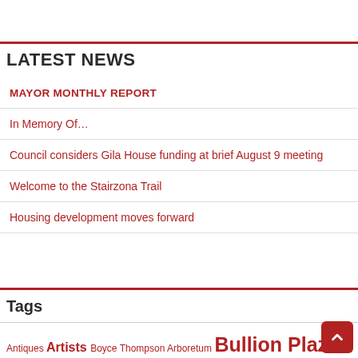LATEST NEWS
MAYOR MONTHLY REPORT
In Memory Of…
Council considers Gila House funding at brief August 9 meeting
Welcome to the Stairzona Trail
Housing development moves forward
Tags
Antiques Artists Boyce Thompson Arboretum Bullion Plaza Museum CASA City of Globe Cobre Valley Center for the Arts Copper Mining Covid-19 Featured Food and Dining Forest Fires Frank Lloyd Wright School of Architecture Gila County